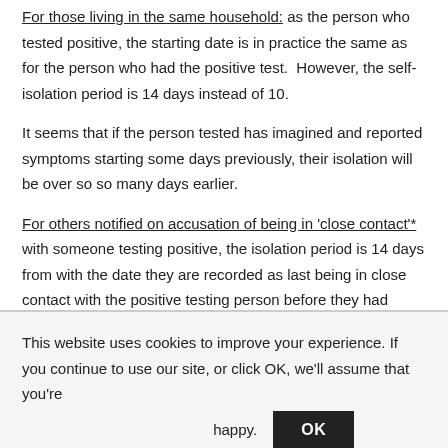as the person who tested positive, the starting date is in practice the same as for the person who had the positive test.  However, the self-isolation period is 14 days instead of 10.
It seems that if the person tested has imagined and reported symptoms starting some days previously, their isolation will be over so so many days earlier.
For others notified on accusation of being in 'close contact'* with someone testing positive, the isolation period is 14 days from with the date they are recorded as last being in close contact with the positive testing person before they had received their notification.
This website uses cookies to improve your experience. If you continue to use our site, or click OK, we'll assume that you're happy. OK